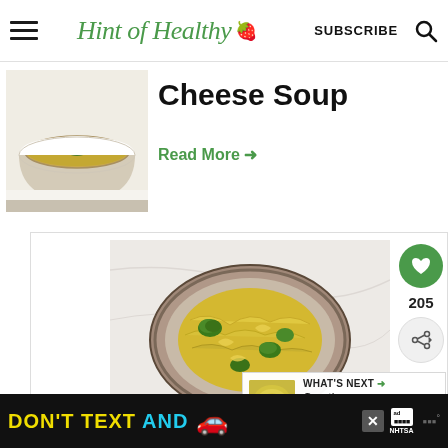Hint of Healthy | SUBSCRIBE
[Figure (photo): Bowl of cheese soup with green herb garnish on top, viewed from above on white surface]
Cheese Soup
Read More →
[Figure (photo): Plate of broccoli pasta with creamy yellow cheese sauce on a marble surface]
205
WHAT'S NEXT → Crustless quiche with....
[Figure (photo): Thumbnail of crustless quiche]
DON'T TEXT AND [car emoji] ad NHTSA